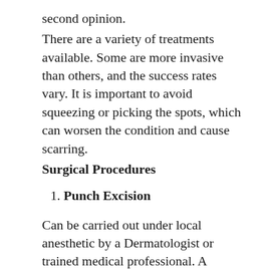second opinion.
There are a variety of treatments available. Some are more invasive than others, and the success rates vary. It is important to avoid squeezing or picking the spots, which can worsen the condition and cause scarring.
Surgical Procedures
1. Punch Excision
Can be carried out under local anesthetic by a Dermatologist or trained medical professional. A machine is used to make 1-2mm wide holes in the skin, targeting the spots. The individual Fordyce granules are then removed manually and each hole is stitched. This is an effective method, with an unlikely chance of reoccurrence, although there is a significant chance of scarring